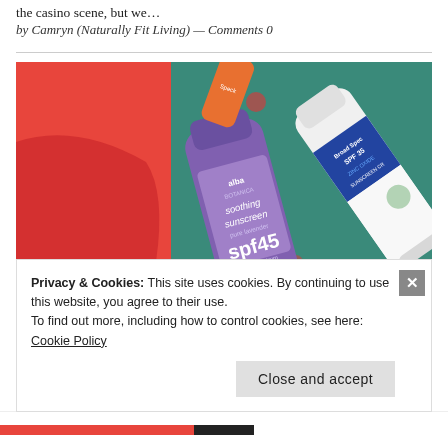the casino scene, but we…
by Camryn (Naturally Fit Living) — Comments 0
[Figure (photo): Photo of sunscreen products including Alba Botanica soothing sunscreen SPF 45 (purple tube) and a zinc oxide SPF 35 broad spectrum sunscreen cream, laid on a teal floral fabric next to a red swimsuit.]
Privacy & Cookies: This site uses cookies. By continuing to use this website, you agree to their use.
To find out more, including how to control cookies, see here:
Cookie Policy
Close and accept